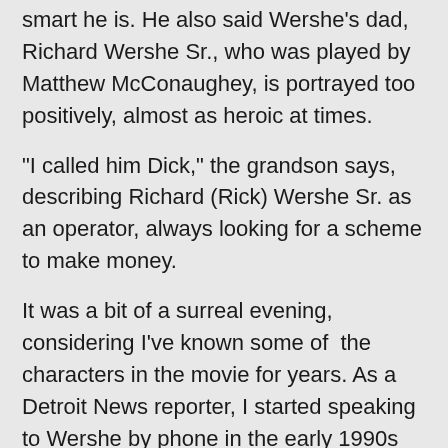smart he is. He also said Wershe's dad, Richard Wershe Sr., who was played by Matthew McConaughey, is portrayed too positively, almost as heroic at times.
"I called him Dick," the grandson says, describing Richard (Rick) Wershe Sr. as an operator, always looking for a scheme to make money.
It was a bit of a surreal evening, considering I've known some of the characters in the movie for years. As a Detroit News reporter, I started speaking to Wershe by phone in the early 1990s and did so for decades until a few years ago when Hollywood came knocking. I believe I got pushed off his select prison phone list